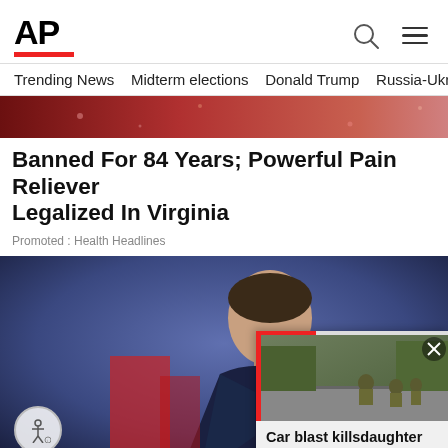AP
Trending News   Midterm elections   Donald Trump   Russia-Ukr
[Figure (photo): Cropped red/glittery background image at top of page (advertisement image)]
Banned For 84 Years; Powerful Pain Reliever Legalized In Virginia
Promoted : Health Headlines
[Figure (photo): Man in dark suit speaking at microphone against blue background, with overlay popup showing soldiers and headline 'Car blast killsdaughter of Russianknown as'...']